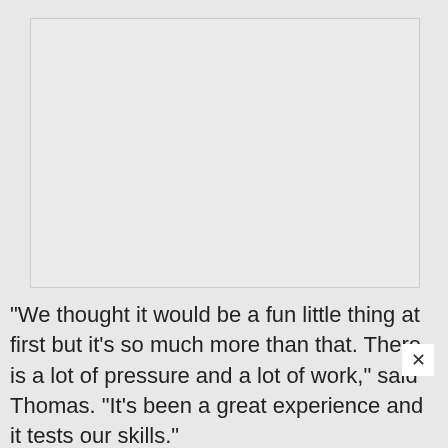[Figure (photo): Large rectangular image placeholder with light gray background]
"We thought it would be a fun little thing at first but it's so much more than that. There is a lot of pressure and a lot of work," said Thomas. "It's been a great experience and it tests our skills."